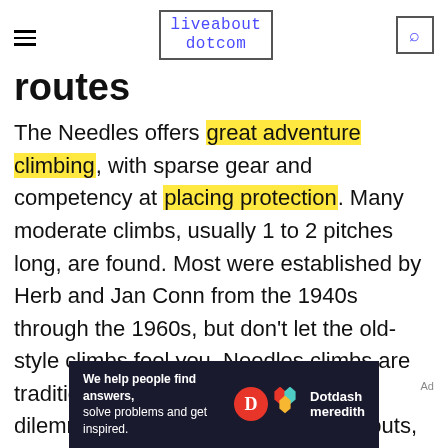liveabout dotcom
routes
The Needles offers great adventure climbing, with sparse gear and competency at placing protection. Many moderate climbs, usually 1 to 2 pitches long, are found. Most were established by Herb and Jan Conn from the 1940s through the 1960s, but don't let the old-style climbs fool you. Needles climbs are traditionally serious with routefinding dilemmas, loose rock, traverses, runouts, old bolts, and no summit anchors. Expect granite face climbing on crystals and edges with occasional crack moves, off-width cracks, and chimneys. Because of their
[Figure (other): Dotdash Meredith advertisement banner: 'We help people find answers, solve problems and get inspired.' with D logo and Dotdash meredith branding]